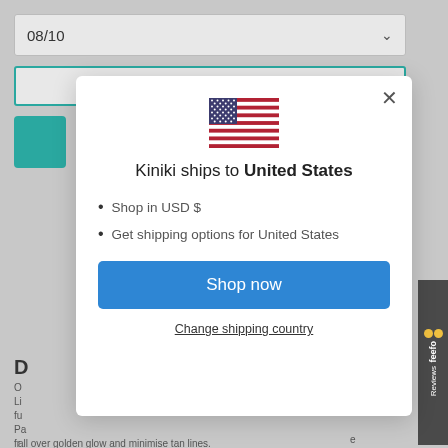[Figure (screenshot): Dropdown showing '08/10' with chevron, teal-bordered input, and partial page background with teal icon]
[Figure (screenshot): Feefo Reviews sidebar widget on right edge]
[Figure (screenshot): Modal dialog: US flag, title 'Kiniki ships to United States', bullet list, Shop now button, Change shipping country link]
Kiniki ships to United States
Shop in USD $
Get shipping options for United States
Shop now
Change shipping country